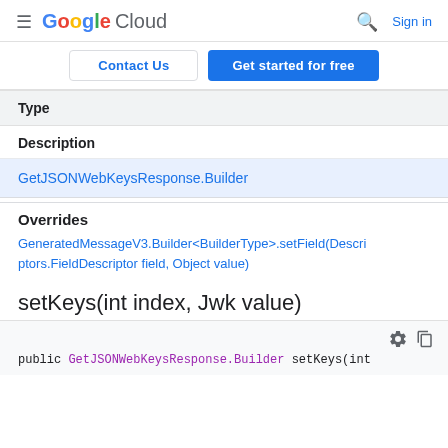≡ Google Cloud   🔍 Sign in
Contact Us   Get started for free
| Type | Description |
| --- | --- |
| GetJSONWebKeysResponse.Builder |  |
Overrides
GeneratedMessageV3.Builder<BuilderType>.setField(Descriptors.FieldDescriptor field, Object value)
setKeys(int index, Jwk value)
public GetJSONWebKeysResponse.Builder setKeys(int